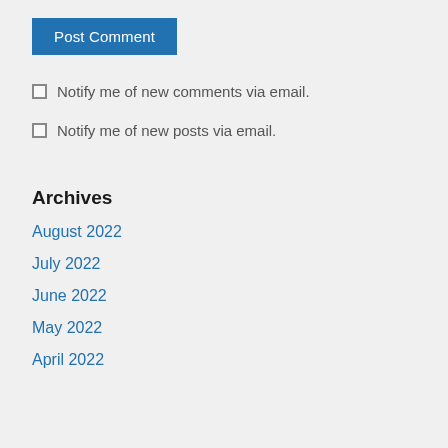Post Comment
Notify me of new comments via email.
Notify me of new posts via email.
Archives
August 2022
July 2022
June 2022
May 2022
April 2022